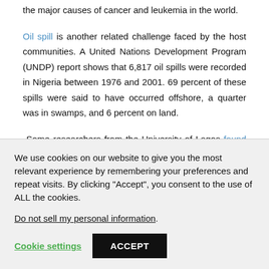the major causes of cancer and leukemia in the world.
Oil spill is another related challenge faced by the host communities. A United Nations Development Program (UNDP) report shows that 6,817 oil spills were recorded in Nigeria between 1976 and 2001. 69 percent of these spills were said to have occurred offshore, a quarter was in swamps, and 6 percent on land.
Some researchers from the University of Lagos found that certain factors are majorly responsible for the recurring oil spill in Nigeria.: About 50 percent
We use cookies on our website to give you the most relevant experience by remembering your preferences and repeat visits. By clicking "Accept", you consent to the use of ALL the cookies.
Do not sell my personal information.